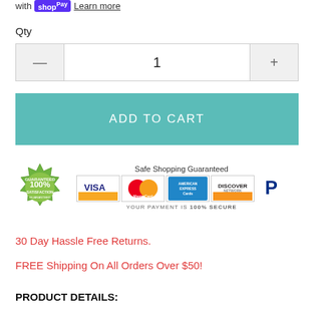with shop Pay  Learn more
Qty
1
ADD TO CART
[Figure (infographic): Safe Shopping Guaranteed badge with 100% Satisfaction seal, Visa, MasterCard, American Express, Discover, and PayPal logos. Text: YOUR PAYMENT IS 100% SECURE]
30 Day Hassle Free Returns.
FREE Shipping On All Orders Over $50!
PRODUCT DETAILS: